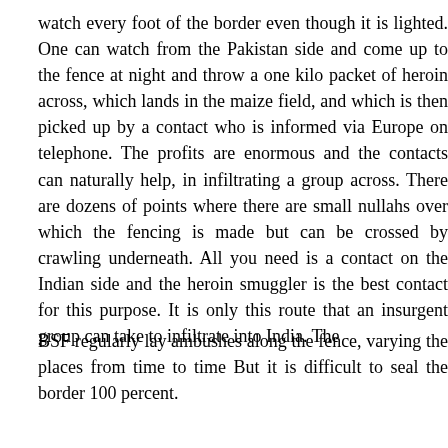watch every foot of the border even though it is lighted. One can watch from the Pakistan side and come up to the fence at night and throw a one kilo packet of heroin across, which lands in the maize field, and which is then picked up by a contact who is informed via Europe on telephone. The profits are enormous and the contacts can naturally help, in infiltrating a group across. There are dozens of points where there are small nullahs over which the fencing is made but can be crossed by crawling underneath. All you need is a contact on the Indian side and the heroin smuggler is the best contact for this purpose. It is only this route that an insurgent group can take to infiltrate into India. The
BSF regularly lay ambushes along the fence, varying the places from time to time But it is difficult to seal the border 100 percent.